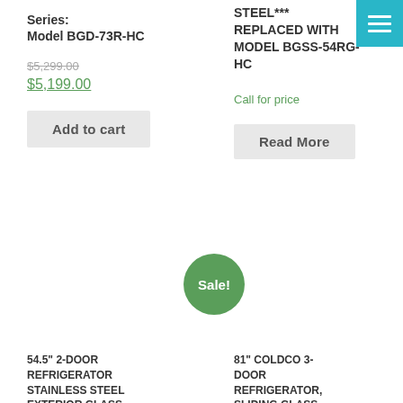Series:
Model BGD-73R-HC
$5,299.00
$5,199.00
Add to cart
STEEL*** REPLACED WITH MODEL BGSS-54RG-HC
Call for price
Read More
Sale!
54.5" 2-DOOR REFRIGERATOR STAINLESS STEEL EXTERIOR GLASS DOOR LED LIGHTING
81" COLDCO 3-DOOR REFRIGERATOR, SLIDING GLASS DOOR MODEL BGD